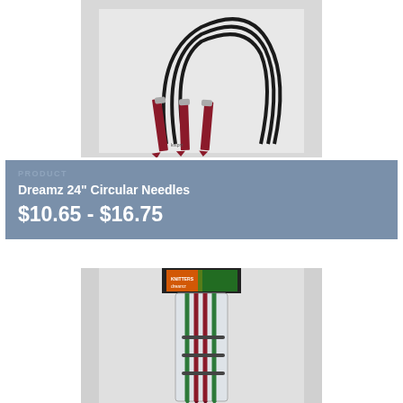[Figure (photo): Dreamz 24 inch circular knitting needles with dark cable and dark red/burgundy needle tips, shown on white background]
PRODUCT
Dreamz 24" Circular Needles
$10.65 - $16.75
[Figure (photo): Dreamz straight knitting needles in packaging, showing green and red/burgundy colored needles in a clear plastic sleeve with label]